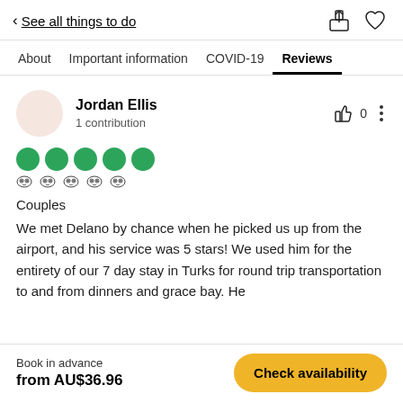< See all things to do
About | Important information | COVID-19 | Reviews
Jordan Ellis
1 contribution
[Figure (other): 5 green circle rating dots and 5 TripAdvisor owl icons]
Couples
We met Delano by chance when he picked us up from the airport, and his service was 5 stars! We used him for the entirety of our 7 day stay in Turks for round trip transportation to and from dinners and grace bay. He
Book in advance
from AU$36.96
Check availability